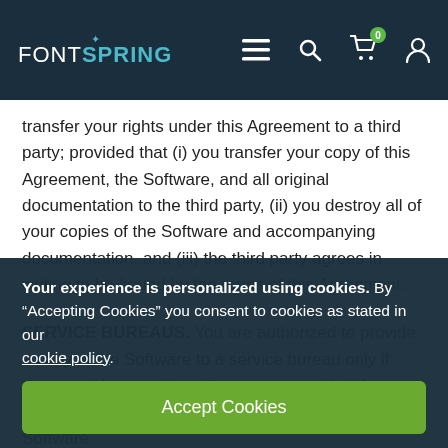FONTSPRING [nav bar with menu, search, cart, account icons]
transfer your rights under this Agreement to a third party; provided that (i) you transfer your copy of this Agreement, the Software, and all original documentation to the third party, (ii) you destroy all of your copies of the Software and accompanying documentation, and (iii) the third party agrees in writing to be bound by the terms of this Agreement.
SERVICE BUREAUS. You are authorized to provide a copy of the Software to a service bureau only if they provide you with written assurance that they already own a valid license from Blambot to use the Software
Your experience is personalized using cookies. By “Accepting Cookies” you consent to cookies as stated in our cookie policy.
Accept Cookies